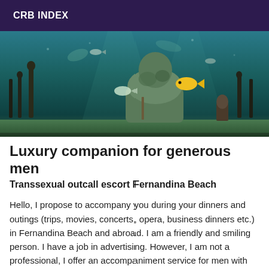CRB INDEX
[Figure (photo): Underwater photograph showing submerged Buddha and human statues covered in moss/coral, with tropical fish including a yellow fish swimming among the sculptures, lit with blue-green underwater light]
Luxury companion for generous men
Transsexual outcall escort Fernandina Beach
Hello, I propose to accompany you during your dinners and outings (trips, movies, concerts, opera, business dinners etc.) in Fernandina Beach and abroad. I am a friendly and smiling person. I have a job in advertising. However, I am not a professional, I offer an accompaniment service for men with means, respectful. I am very fine, gentle and intelligent. Former model!